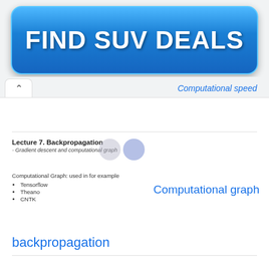[Figure (other): Blue gradient ad banner button with text FIND SUV DEALS in bold white letters]
Computational speed
Lecture 7. Backpropagation
- Gradient descent and computational graph
Computational Graph: used in for example
• Tensorflow
• Theano
• CNTK
Computational graph
backpropagation
Computing Gradient
Computational graph